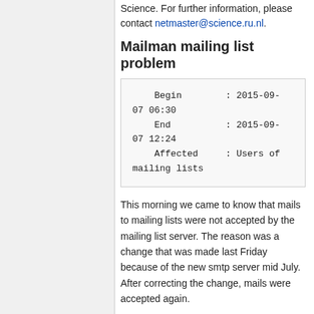Science. For further information, please contact netmaster@science.ru.nl.
Mailman mailing list problem
| Begin | : 2015-09-07 06:30 |
| End | : 2015-09-07 12:24 |
| Affected | : Users of mailing lists |
This morning we came to know that mails to mailing lists were not accepted by the mailing list server. The reason was a change that was made last Friday because of the new smtp server mid July. After correcting the change, mails were accepted again.
Network shares unavailable